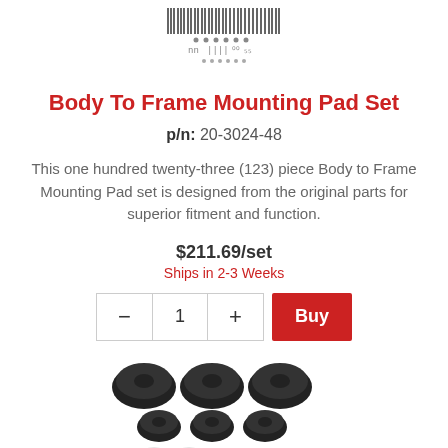[Figure (other): Barcode / part number barcode image at top center]
Body To Frame Mounting Pad Set
p/n: 20-3024-48
This one hundred twenty-three (123) piece Body to Frame Mounting Pad set is designed from the original parts for superior fitment and function.
$211.69/set
Ships in 2-3 Weeks
[Figure (photo): Product photo showing body to frame mounting pad set components — rubber pads, washers, bolts and hardware pieces arranged on white background]